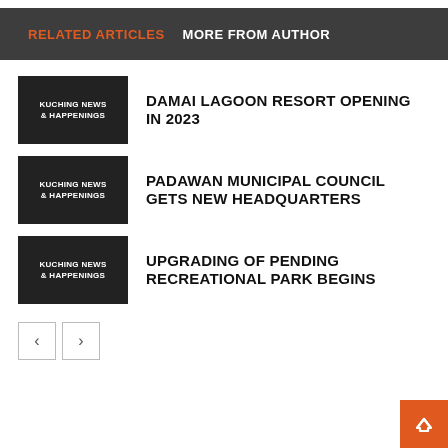RELATED ARTICLES   MORE FROM AUTHOR
[Figure (other): Thumbnail image placeholder with label KUCHING NEWS & HAPPENINGS]
DAMAI LAGOON RESORT OPENING IN 2023
[Figure (other): Thumbnail image placeholder with label KUCHING NEWS & HAPPENINGS]
PADAWAN MUNICIPAL COUNCIL GETS NEW HEADQUARTERS
[Figure (other): Thumbnail image placeholder with label KUCHING NEWS & HAPPENINGS]
UPGRADING OF PENDING RECREATIONAL PARK BEGINS